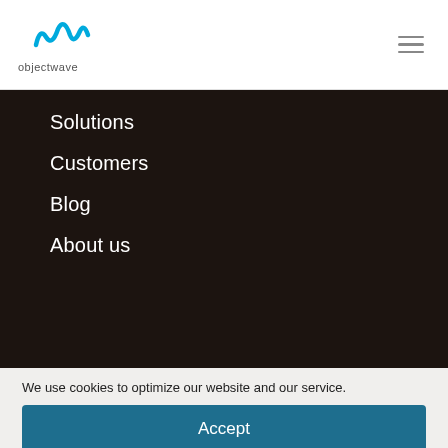objectwave
Solutions
Customers
Blog
About us
CORPORATE HEADQUARTERS
We use cookies to optimize our website and our service.
Accept